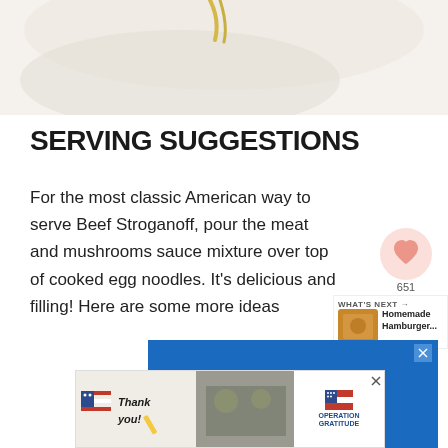[Figure (photo): Top portion of a food photo, white background with partial view of a dish, cream-colored]
SERVING SUGGESTIONS
For the most classic American way to serve Beef Stroganoff, pour the meat and mushrooms sauce mixture over top of cooked egg noodles. It's delicious and filling! Here are some more ideas
[Figure (screenshot): Blue advertisement banner reading 'We Stand' with a close X button in top right corner]
[Figure (screenshot): Social share widget showing heart icon with 651 count and share icon]
[Figure (screenshot): WHAT'S NEXT panel showing thumbnail of Homemade Hamburger... with food image]
[Figure (screenshot): Bottom advertisement banner for Operation Gratitude with Thank You military theme and close X button]